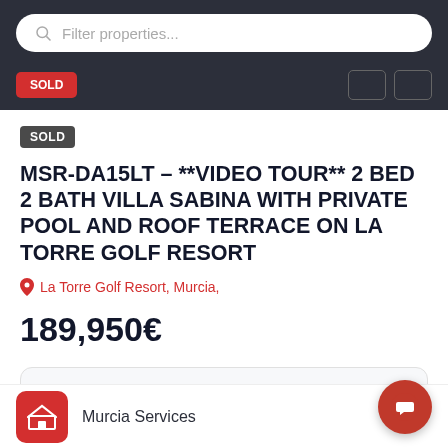[Figure (screenshot): Search bar with placeholder text 'Filter properties...' on dark background nav bar]
SOLD
MSR-DA15LT – **VIDEO TOUR** 2 BED 2 BATH VILLA SABINA WITH PRIVATE POOL AND ROOF TERRACE ON LA TORRE GOLF RESORT
La Torre Golf Resort, Murcia,
189,950€
OVERVIEW
Murcia Services